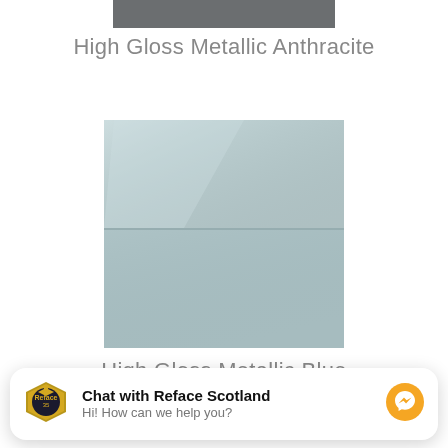[Figure (photo): Partial view of a High Gloss Metallic Anthracite cabinet door sample at the top of the page (cropped)]
High Gloss Metallic Anthracite
[Figure (photo): High Gloss Metallic Blue cabinet door sample - a square panel showing two horizontal sections with a glossy light blue-grey finish and subtle sheen highlights]
High Gloss Metallic Blue
[Figure (screenshot): Chat widget popup: logo of Reface Scotland (shield with graduation cap), bold text 'Chat with Reface Scotland', subtext 'Hi! How can we help you?', and a Facebook Messenger icon button on the right]